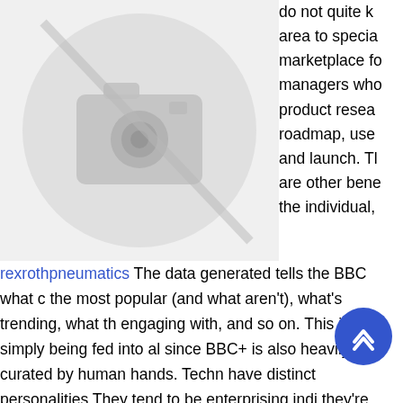[Figure (photo): Placeholder image with a camera icon inside a circle, grey tones, no-image symbol]
do not quite k area to specia marketplace f managers wh product rese roadmap, use and launch. T are other ben the individual,
rexrothpneumatics The data generated tells the BBC what c the most popular (and what aren't), what's trending, what th engaging with, and so on. This isn't simply being fed into al since BBC+ is also heavily curated by human hands. Techn have distinct personalities They tend to be enterprising indi they're adventurous, ambitious, assertive, extrove nei confident, and optimistic. They are dominant, persuasive, a